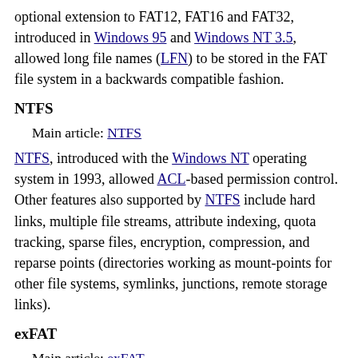optional extension to FAT12, FAT16 and FAT32, introduced in Windows 95 and Windows NT 3.5, allowed long file names (LFN) to be stored in the FAT file system in a backwards compatible fashion.
NTFS
Main article: NTFS
NTFS, introduced with the Windows NT operating system in 1993, allowed ACL-based permission control. Other features also supported by NTFS include hard links, multiple file streams, attribute indexing, quota tracking, sparse files, encryption, compression, and reparse points (directories working as mount-points for other file systems, symlinks, junctions, remote storage links).
exFAT
Main article: exFAT
exFAT has certain advantages over NTFS with regard to file system overhead.[citation needed]